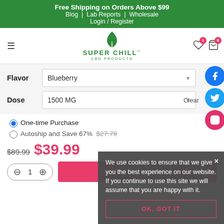Free Shipping on Orders Above $99 | Blog | Lab Reports | Wholesale | Login / Register
[Figure (logo): Super Chill CBD Products logo with cannabis leaf icon]
Flavor: Blueberry
Dose: 1500 MG | Clear
One-time Purchase (selected) | Autoship and Save 67%
Price: was $89.99, now $39.99
Quantity: 1 | ADD TO CART
We use cookies to ensure that we give you the best experience on our website. If you continue to use this site we will assume that you are happy with it. | OK, GOT IT